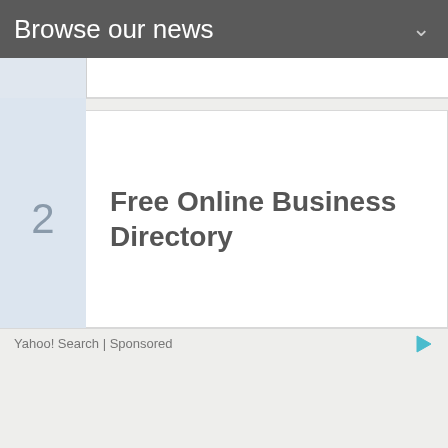Browse our news
2
Free Online Business Directory
Yahoo! Search | Sponsored